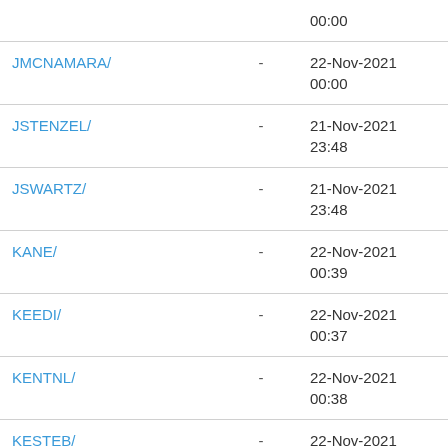| Name |  | Date |
| --- | --- | --- |
|  |  | 00:00 |
| JMCNAMARA/ | - | 22-Nov-2021
00:00 |
| JSTENZEL/ | - | 21-Nov-2021
23:48 |
| JSWARTZ/ | - | 21-Nov-2021
23:48 |
| KANE/ | - | 22-Nov-2021
00:39 |
| KEEDI/ | - | 22-Nov-2021
00:37 |
| KENTNL/ | - | 22-Nov-2021
00:38 |
| KESTEB/ | - | 22-Nov-2021
00:38 |
| KHW/ | - | 22-Nov-2021
00:31 |
| KJALB/ | - | 22-Nov-2021 |